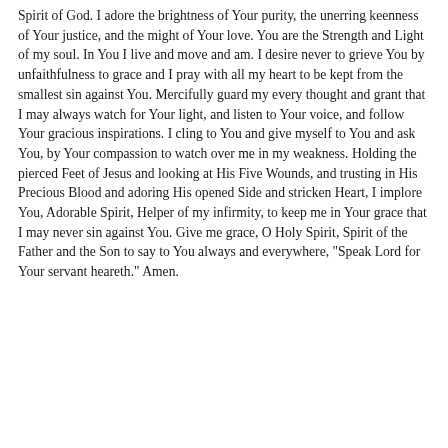Spirit of God. I adore the brightness of Your purity, the unerring keenness of Your justice, and the might of Your love. You are the Strength and Light of my soul. In You I live and move and am. I desire never to grieve You by unfaithfulness to grace and I pray with all my heart to be kept from the smallest sin against You. Mercifully guard my every thought and grant that I may always watch for Your light, and listen to Your voice, and follow Your gracious inspirations. I cling to You and give myself to You and ask You, by Your compassion to watch over me in my weakness. Holding the pierced Feet of Jesus and looking at His Five Wounds, and trusting in His Precious Blood and adoring His opened Side and stricken Heart, I implore You, Adorable Spirit, Helper of my infirmity, to keep me in Your grace that I may never sin against You. Give me grace, O Holy Spirit, Spirit of the Father and the Son to say to You always and everywhere, "Speak Lord for Your servant heareth." Amen.